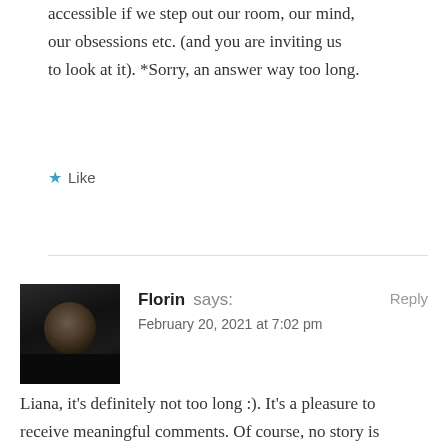accessible if we step out our room, our mind, our obsessions etc. (and you are inviting us to look at it). *Sorry, an answer way too long.
★ Like
Florin says: February 20, 2021 at 7:02 pm — Reply
Liana, it's definitely not too long :). It's a pleasure to receive meaningful comments. Of course, no story is carved in stone and that's the beauty of it. We can change our toxic self-narratives and escape their spell